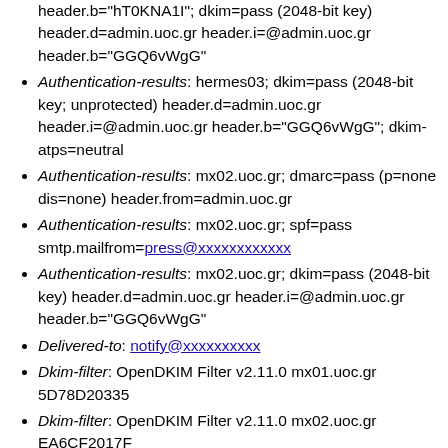header.b="hT0KNA1I"; dkim=pass (2048-bit key) header.d=admin.uoc.gr header.i=@admin.uoc.gr header.b="GGQ6vWgG"
Authentication-results: hermes03; dkim=pass (2048-bit key; unprotected) header.d=admin.uoc.gr header.i=@admin.uoc.gr header.b="GGQ6vWgG"; dkim-atps=neutral
Authentication-results: mx02.uoc.gr; dmarc=pass (p=none dis=none) header.from=admin.uoc.gr
Authentication-results: mx02.uoc.gr; spf=pass smtp.mailfrom=press@xxxxxxxxxxxx
Authentication-results: mx02.uoc.gr; dkim=pass (2048-bit key) header.d=admin.uoc.gr header.i=@admin.uoc.gr header.b="GGQ6vWgG"
Delivered-to: notify@xxxxxxxxxx
Dkim-filter: OpenDKIM Filter v2.11.0 mx01.uoc.gr 5D78D20335
Dkim-filter: OpenDKIM Filter v2.11.0 mx02.uoc.gr EA6CF2017F
Dkim-signature: v=1; a=rsa-sha256; c=relaxed/relaxed; d=admin.uoc.gr; s=201911; t=1631267148; bh=X+TZdmgoADGgmw6Qz+N3PtsGljpAji2kNnED3JU9ttI=; h=From:To:References:In-Reply-To:Subject:Date; b=hT0KNA1fLsD9fgx7D7m9rhqCVfRhScKgoy1L+3RBJNrv jPGO6r/I8zVtVNKyH3v78QrWtv+7jdOlgaK74lQafIS3ks7khs DooITC/TaaaA/QfAURdel3lyRR8MMkSRIk+Ra1Oa==T